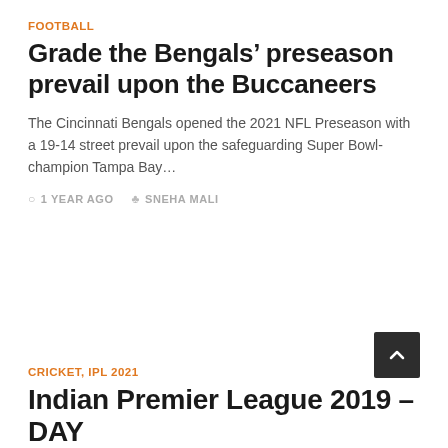FOOTBALL
Grade the Bengals’ preseason prevail upon the Buccaneers
The Cincinnati Bengals opened the 2021 NFL Preseason with a 19-14 street prevail upon the safeguarding Super Bowl-champion Tampa Bay…
○ 1 YEAR AGO   & SNEHA MALI
CRICKET, IPL 2021
Indian Premier League 2019 – DAY